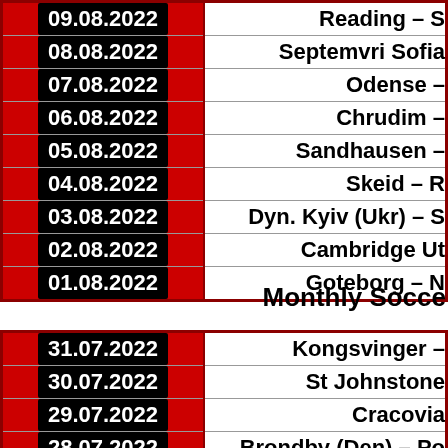| Date | Match |
| --- | --- |
| 09.08.2022 | Reading – S… |
| 08.08.2022 | Septemvri Sofia… |
| 07.08.2022 | Odense –… |
| 06.08.2022 | Chrudim –… |
| 05.08.2022 | Sandhausen –… |
| 04.08.2022 | Skeid – R… |
| 03.08.2022 | Dyn. Kyiv (Ukr) – S… |
| 02.08.2022 | Cambridge Ut… |
| 01.08.2022 | Goteborg – N… |
Monthly Socce…
| Date | Match |
| --- | --- |
| 31.07.2022 | Kongsvinger –… |
| 30.07.2022 | St Johnstone… |
| 29.07.2022 | Cracovia… |
| 28.07.2022 | Brondby (Den) – Po… |